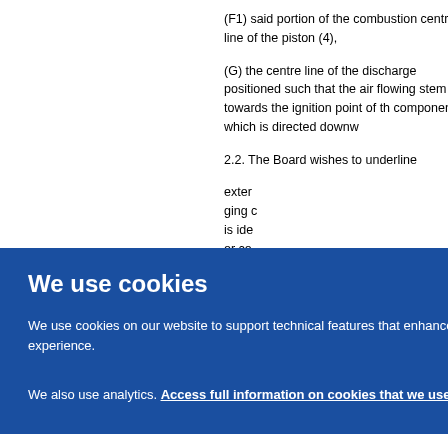(F1) said portion of the combustion centre line of the piston (4),
(G) the centre line of the discharge positioned such that the air flowing stem towards the ignition point of the component which is directed down
2.2. The Board wishes to underline
exter ging c is ide or co
We use cookies
We use cookies on our website to support technical features that enhance your user experience.
We also use analytics. Access full information on cookies that we use and how to manage them
rocee claim m, an hnica